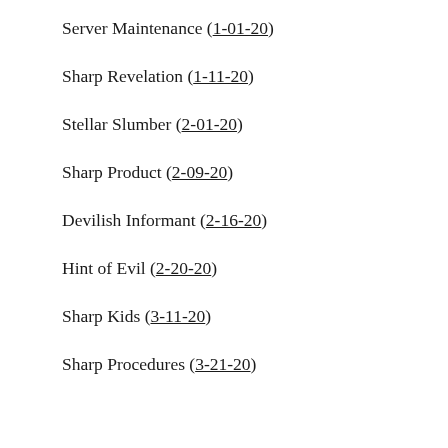Server Maintenance (1-01-20)
Sharp Revelation (1-11-20)
Stellar Slumber (2-01-20)
Sharp Product (2-09-20)
Devilish Informant (2-16-20)
Hint of Evil (2-20-20)
Sharp Kids (3-11-20)
Sharp Procedures (3-21-20)